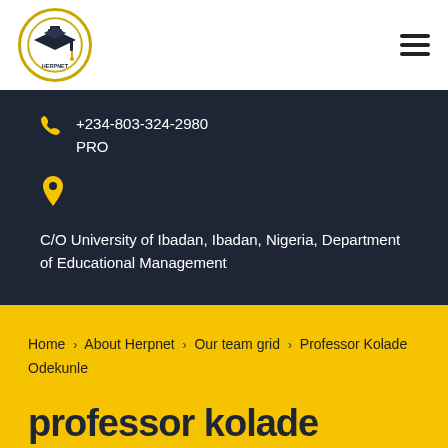[Figure (logo): HERPNET circular logo with graduation cap icon]
+234-803-324-2980
PRO
C/O University of Ibadan, Ibadan, Nigeria, Department of Educational Management
Home › About Herpnet › Our team grid › Professor Kolade Odekunle
professor kolade